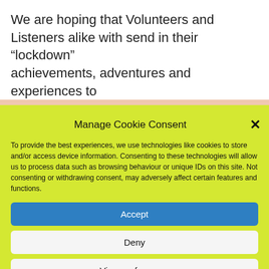We are hoping that Volunteers and Listeners alike with send in their “lockdown” achievements, adventures and experiences to
Manage Cookie Consent
To provide the best experiences, we use technologies like cookies to store and/or access device information. Consenting to these technologies will allow us to process data such as browsing behaviour or unique IDs on this site. Not consenting or withdrawing consent, may adversely affect certain features and functions.
Accept
Deny
View preferences
Cookies   Data Protection – how we handle listener and volunteer data